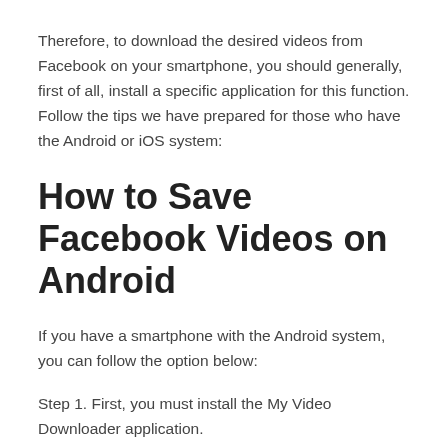Therefore, to download the desired videos from Facebook on your smartphone, you should generally, first of all, install a specific application for this function. Follow the tips we have prepared for those who have the Android or iOS system:
How to Save Facebook Videos on Android
If you have a smartphone with the Android system, you can follow the option below:
Step 1. First, you must install the My Video Downloader application.